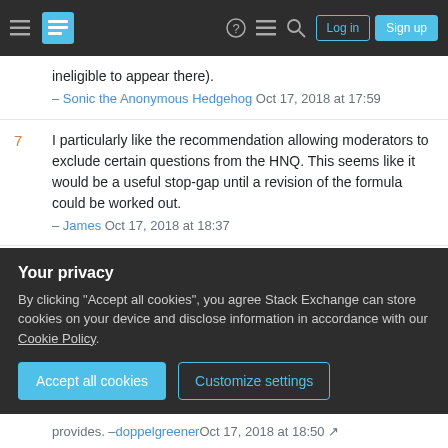Stack Exchange navigation bar with hamburger menu, logo, help, chat, search icons, Log in and Sign up buttons
ineligible to appear there).
– Sonic the Anonymous Hedgehog Oct 17, 2018 at 17:59
7  I particularly like the recommendation allowing moderators to exclude certain questions from the HNQ. This seems like it would be a useful stop-gap until a revision of the formula could be worked out.
– James Oct 17, 2018 at 18:37
157  +1 The HNQ absolutely optimises for controversy. On RPG.SE the effect of a HNQ is often also pretty bad: if we've got a controversial, difficult topic it needs careful community cultivation, expert answers, and
Your privacy
By clicking "Accept all cookies", you agree Stack Exchange can store cookies on your device and disclose information in accordance with our Cookie Policy.
Accept all cookies
Customize settings
provides. – doppelgreener Oct 17, 2018 at 18:50